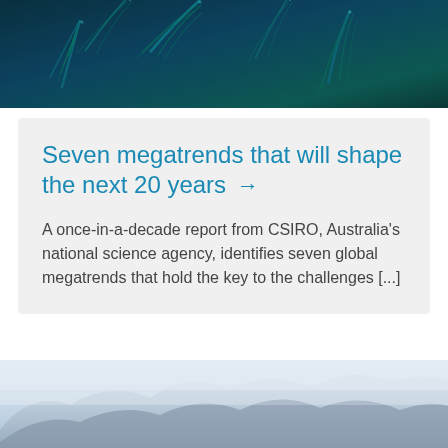[Figure (photo): Close-up photograph of blue-green feathery plant leaves or ferns with a dark teal/blue color palette]
Seven megatrends that will shape the next 20 years →
A once-in-a-decade report from CSIRO, Australia's national science agency, identifies seven global megatrends that hold the key to the challenges [...]
[Figure (photo): Foggy mountainous landscape with snow-capped peaks barely visible through mist, predominantly blue-grey tones]